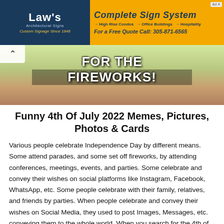[Figure (screenshot): Advertisement banner split into two sections: left side dark blue background with Law's Architectural Signs logo (white bold text), subtitle 'Architectural Signs' and tagline 'Custom Signage Since 1948'; right side orange/yellow background with 'Complete Sign System' in bold dark blue text, bullet points for High Rise Condos, Office Buildings, Hospitality, and phone number 305-871-6565]
[Figure (photo): Partial image showing skin/body with white bold text overlay reading FOR THE FIREWORKS! on a background of greenish and brownish tones. A scroll-up arrow chevron is visible in the top-left corner.]
Funny 4th Of July 2022 Memes, Pictures, Photos & Cards
Various people celebrate Independence Day by different means. Some attend parades, and some set off fireworks, by attending conferences, meetings, events, and parties. Some celebrate and convey their wishes on social platforms like Instagram, Facebook, WhatsApp, etc. Some people celebrate with their family, relatives, and friends by parties. When people celebrate and convey their wishes on Social Media, they used to post Images, Messages, etc. conveying them to the whole world. When you search for the 4th of July memes, Funny Pictures on the webpage you can easily download